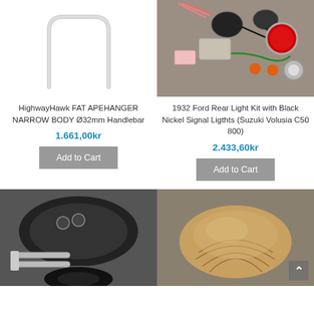[Figure (photo): Chrome ape hanger handlebar on white background]
[Figure (photo): 1932 Ford rear light kit with wires, signal lights, and red lens components laid out on surface]
HighwayHawk FAT APEHANGER NARROW BODY Ø32mm Handlebar
1.661,00kr
Add to Cart
1932 Ford Rear Light Kit with Black Nickel Signal Ligthts (Suzuki Volusia C50 800)
2.433,60kr
Add to Cart
[Figure (photo): Black motorcycle rear view showing exhaust pipes and wheel]
[Figure (photo): Tan leather motorcycle solo seat with stitching pattern on grey background]